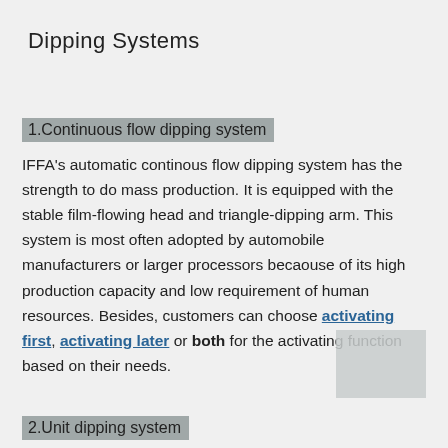Dipping Systems
1.Continuous flow dipping system
IFFA's automatic continous flow dipping system has the strength to do mass production. It is equipped with the stable film-flowing head and triangle-dipping arm. This system is most often adopted by automobile manufacturers or larger processors becaouse of its high production capacity and low requirement of human resources. Besides, customers can choose activating first, activating later or both for the activating function based on their needs.
2.Unit dipping system